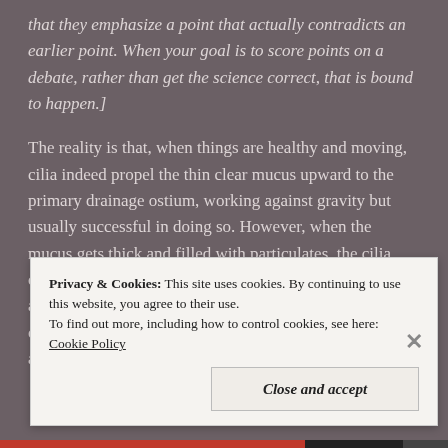that they emphasize a point that actually contradicts an earlier point. When your goal is to score points on a debate, rather than get the science correct, that is bound to happen.]
The reality is that, when things are healthy and moving, cilia indeed propel the thin clear mucus upward to the primary drainage ostium, working against gravity but usually successful in doing so. However, when the mucus gets thick and filled with particulates, the cilia cannot win against gravity and drainage slows. The accessory ostia, when present, are tiny. Even the primary ostium is extremely skinny in humans compared to other animals (another flaw!), and eventually clogs up as well.
Privacy & Cookies: This site uses cookies. By continuing to use this website, you agree to their use. To find out more, including how to control cookies, see here: Cookie Policy